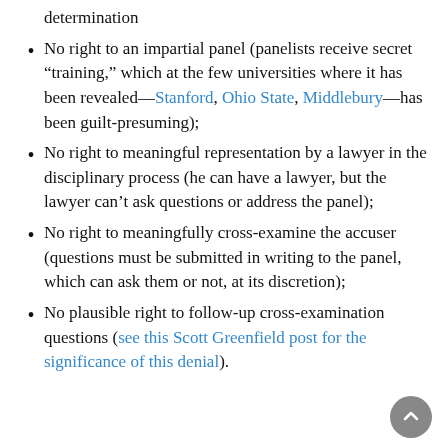determination
No right to an impartial panel (panelists receive secret “training,” which at the few universities where it has been revealed—Stanford, Ohio State, Middlebury—has been guilt-presuming);
No right to meaningful representation by a lawyer in the disciplinary process (he can have a lawyer, but the lawyer can’t ask questions or address the panel);
No right to meaningfully cross-examine the accuser (questions must be submitted in writing to the panel, which can ask them or not, at its discretion);
No plausible right to follow-up cross-examination questions (see this Scott Greenfield post for the significance of this denial).